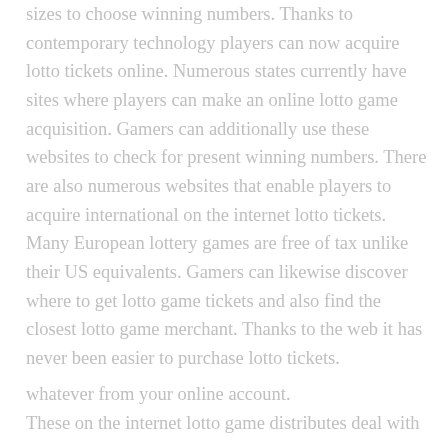sizes to choose winning numbers. Thanks to contemporary technology players can now acquire lotto tickets online. Numerous states currently have sites where players can make an online lotto game acquisition. Gamers can additionally use these websites to check for present winning numbers. There are also numerous websites that enable players to acquire international on the internet lotto tickets. Many European lottery games are free of tax unlike their US equivalents. Gamers can likewise discover where to get lotto game tickets and also find the closest lotto game merchant. Thanks to the web it has never been easier to purchase lotto tickets.
whatever from your online account.
These on the internet lotto game distributes deal with